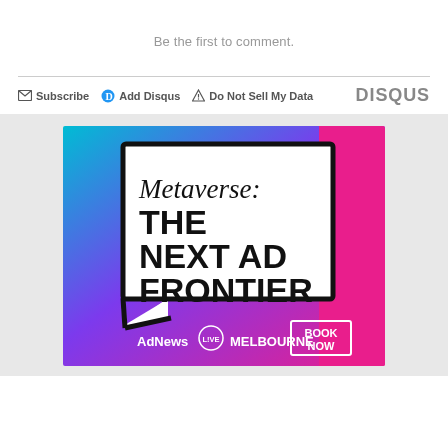Be the first to comment.
Subscribe  Add Disqus  Do Not Sell My Data  DISQUS
[Figure (illustration): AdNews Live Melbourne advertisement banner. Gradient background from teal/cyan on left to magenta/pink on right with purple in middle. Large speech bubble shape in white with black border containing italic text 'Metaverse:' and bold black text 'THE NEXT AD FRONTIER'. Pink vertical stripe on right side. Bottom shows 'AdNews LIVE MELBOURNE' in white text and 'BOOK NOW' in a white outlined box.]